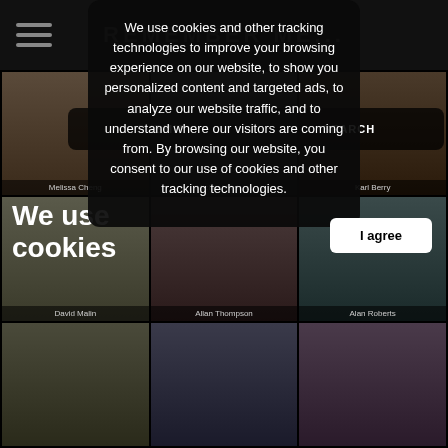REMEMBER ME...
We use cookies and other tracking technologies to improve your browsing experience on our website, to show you personalized content and targeted ads, to analyze our website traffic, and to understand where our visitors are coming from. By browsing our website, you consent to our use of cookies and other tracking technologies.
We use cookies
I agree
Melissa Cheng
Michael Malone
Karl Berry
David Malin
Allan Thompson
Alan Roberts